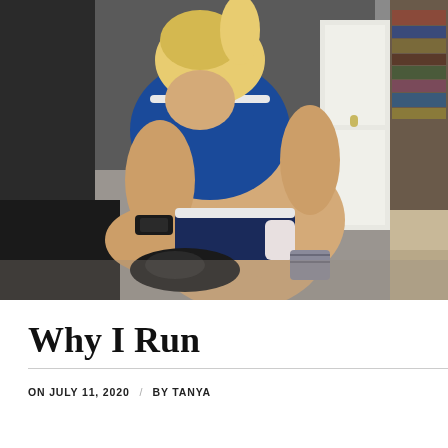[Figure (photo): A woman in a blue athletic tank top and black shorts, wearing a black fitness watch, kneeling on a carpet floor. Books and shelves are visible in the background on the right side. Dark couch/chair visible on the left.]
Why I Run
ON JULY 11, 2020 / BY TANYA